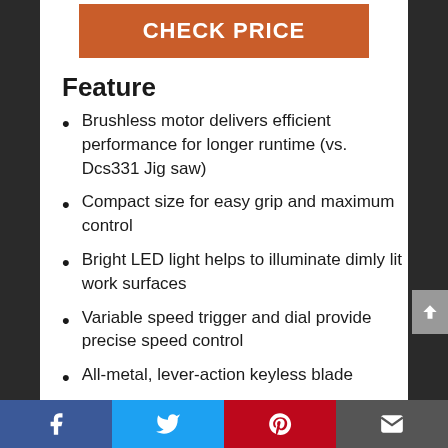CHECK PRICE
Feature
Brushless motor delivers efficient performance for longer runtime (vs. Dcs331 Jig saw)
Compact size for easy grip and maximum control
Bright LED light helps to illuminate dimly lit work surfaces
Variable speed trigger and dial provide precise speed control
All-metal, lever-action keyless blade
Facebook | Twitter | Pinterest | Email